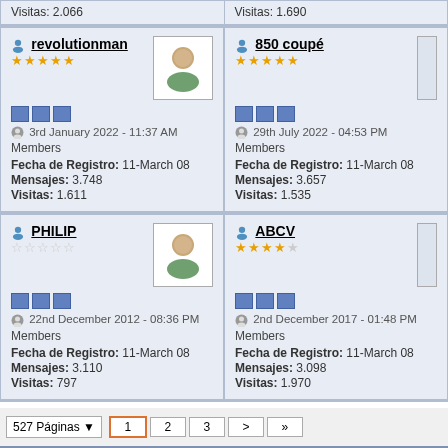| Member Left | Member Right |
| --- | --- |
| Visitas: 2.066 | Visitas: 1.690 |
| revolutionman | 3rd January 2022 - 11:37 AM | Members | Fecha de Registro: 11-March 08 | Mensajes: 3.748 | Visitas: 1.611 | 850 coupé | 29th July 2022 - 04:53 PM | Members | Fecha de Registro: 11-March 08 | Mensajes: 3.657 | Visitas: 1.535 |
| PHILIP | 22nd December 2012 - 08:36 PM | Members | Fecha de Registro: 11-March 08 | Mensajes: 3.110 | Visitas: 797 | ABCV | 2nd December 2017 - 01:48 PM | Members | Fecha de Registro: 11-March 08 | Mensajes: 3.098 | Visitas: 1.970 |
527 Páginas  1  2  3  >  »
Powered